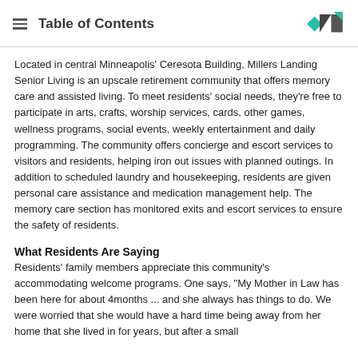Table of Contents
Located in central Minneapolis' Ceresota Building, Millers Landing Senior Living is an upscale retirement community that offers memory care and assisted living. To meet residents' social needs, they're free to participate in arts, crafts, worship services, cards, other games, wellness programs, social events, weekly entertainment and daily programming. The community offers concierge and escort services to visitors and residents, helping iron out issues with planned outings. In addition to scheduled laundry and housekeeping, residents are given personal care assistance and medication management help. The memory care section has monitored exits and escort services to ensure the safety of residents.
What Residents Are Saying
Residents' family members appreciate this community's accommodating welcome programs. One says, "My Mother in Law has been here for about 4months ... and she always has things to do. We were worried that she would have a hard time being away from her home that she lived in for years, but after a small